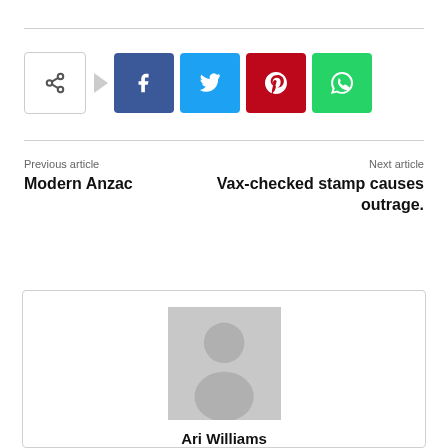[Figure (infographic): Social share bar with share icon, arrow, Facebook, Twitter, Pinterest, and WhatsApp buttons]
Previous article
Modern Anzac
Next article
Vax-checked stamp causes outrage.
[Figure (photo): Default author avatar placeholder — grey silhouette of a person on grey background]
Ari Williams